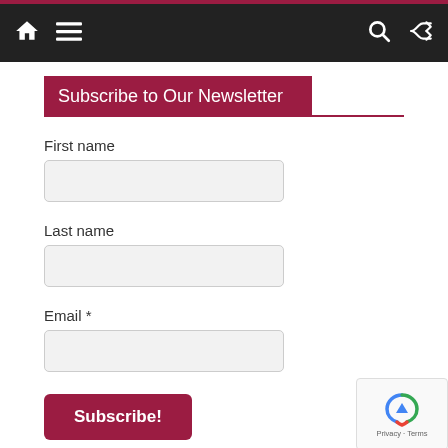Navigation bar with home, menu, search, and shuffle icons
Subscribe to Our Newsletter
First name
Last name
Email *
Subscribe!